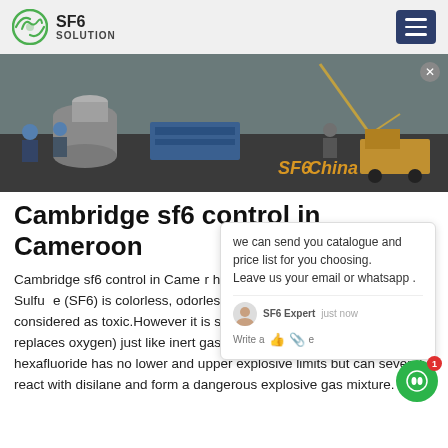SF6 SOLUTION
[Figure (photo): Industrial construction/engineering site with workers in hard hats, large cylindrical equipment, cranes, and trucks. Orange text overlay reads 'SF6China']
Cambridge sf6 control in Cameroon
Cambridge sf6 control in Cameroon hexafluoride SF6 gas hazards. Sulfur hexafluoride (SF6) is colorless, odorless, heavier than air and is not considered as toxic.However it is suffocating at high concentrations (it replaces oxygen) just like inert gases (also called noble gases). Sulfur hexafluoride has no lower and upper explosive limits but can severely react with disilane and form a dangerous explosive gas mixture.